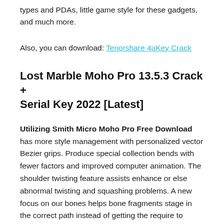types and PDAs, little game style for these gadgets, and much more.
Also, you can download: Tenorshare 4uKey Crack
Lost Marble Moho Pro 13.5.3 Crack + Serial Key 2022 [Latest]
Utilizing Smith Micro Moho Pro Free Download has more style management with personalized vector Bezier grips. Produce special collection bends with fewer factors and improved computer animation. The shoulder twisting feature assists enhance or else abnormal twisting and squashing problems. A new focus on our bones helps bone fragments stage in the correct path instead of getting the require to